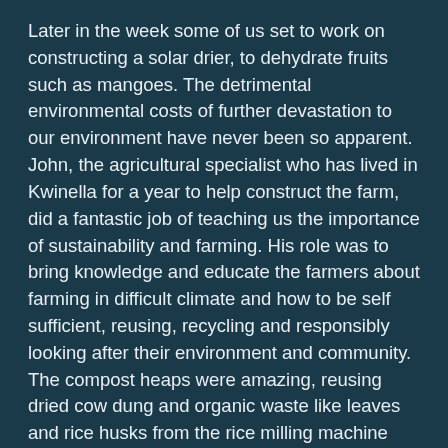Later in the week some of us set to work on constructing a solar drier, to dehydrate fruits such as mangoes. The detrimental environmental costs of further devastation to our environment have never been so apparent. John, the agricultural specialist who has lived in Kwinella for a year to help construct the farm, did a fantastic job of teaching us the importance of sustainability and farming. His role was to bring knowledge and educate the farmers about farming in difficult climate and how to be self sufficient, reusing, recycling and responsibly looking after their environment and community. The compost heaps were amazing, reusing dried cow dung and organic waste like leaves and rice husks from the rice milling machine that we had inaugurated that week. We planted banana trees, mango trees and orange trees, mustard cress, carrots, onions… By the end